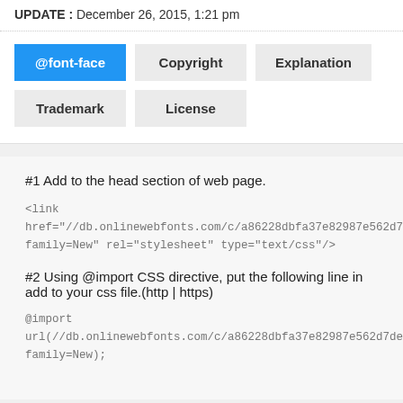UPDATE : December 26, 2015, 1:21 pm
@font-face
Copyright
Explanation
Trademark
License
#1 Add to the head section of web page.
<link
href="//db.onlinewebfonts.com/c/a86228dbfa37e82987e562d7de
family=New" rel="stylesheet" type="text/css"/>
#2 Using @import CSS directive, put the following line in add to your css file.(http | https)
@import
url(//db.onlinewebfonts.com/c/a86228dbfa37e82987e562d7de4
family=New);